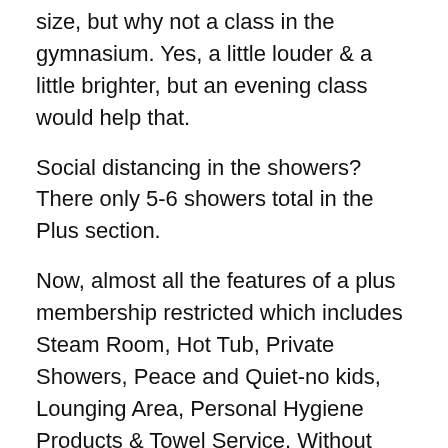size, but why not a class in the gymnasium. Yes, a little louder & a little brighter, but an evening class would help that.
Social distancing in the showers? There only 5-6 showers total in the Plus section.
Now, almost all the features of a plus membership restricted which includes Steam Room, Hot Tub, Private Showers, Peace and Quiet-no kids, Lounging Area, Personal Hygiene Products & Towel Service. Without most of this, do you think we'd get a price break until it opens back up? Good God no. In fact, they cancelled the pilot program I was in so my membership is going to go up by about $20
Honestly, I'm not entirely sure I am comfortable going back to the gym quite yet. Being at higher risk makes me